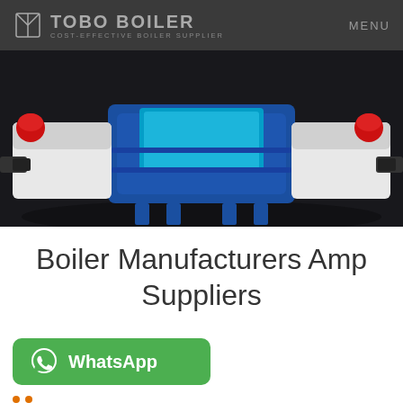TOBO BOILER — COST-EFFECTIVE BOILER SUPPLIER — MENU
[Figure (photo): Industrial boiler machinery in blue and white with red accents on dark background]
Boiler Manufacturers Amp Suppliers
[Figure (other): Green WhatsApp button with WhatsApp icon and text 'WhatsApp']